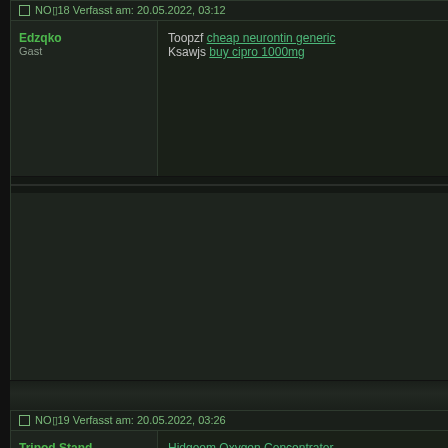NO□18 Verfasst am: 20.05.2022, 03:12
Edzqko
Gast
Toopzf cheap neurontin generic Ksawjs buy cipro 1000mg
NO□19 Verfasst am: 20.05.2022, 03:26
Tripod Stand
Gast
Hidgeem Oxygen Concentrator http://b19.chip.jp/kozue861/ Tripod Stand